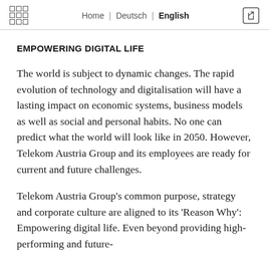Home | Deutsch | English
EMPOWERING DIGITAL LIFE
The world is subject to dynamic changes. The rapid evolution of technology and digitalisation will have a lasting impact on economic systems, business models as well as social and personal habits. No one can predict what the world will look like in 2050. However, Telekom Austria Group and its employees are ready for current and future challenges.
Telekom Austria Group’s common purpose, strategy and corporate culture are aligned to its ‘Reason Why’: Empowering digital life. Even beyond providing high-performing and future-